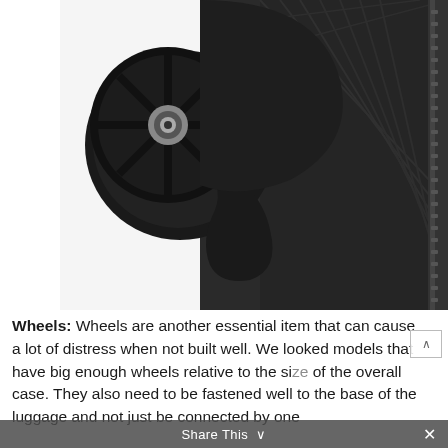[Figure (photo): Close-up photograph of a luggage wheel and wheel housing on a black fabric suitcase. The wheel is black with a visible metal bearing, mounted in a black plastic wheel housing. Part of the zipper is visible on the right side.]
Wheels: Wheels are another essential item that can cause a lot of distress when not built well. We looked models that have big enough wheels relative to the size of the overall case. They also need to be fastened well to the base of the luggage and not just be connected by one